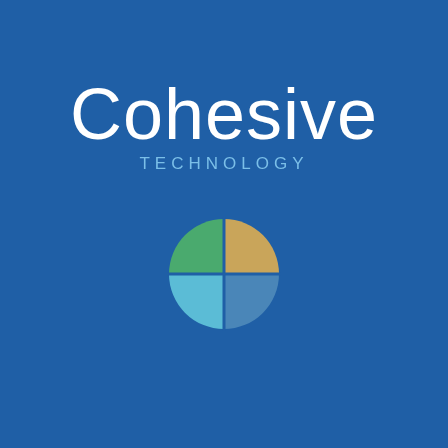[Figure (logo): Cohesive Technology company logo on a dark blue background. The text 'Cohesive' appears in large white thin-weight sans-serif font, with 'TECHNOLOGY' in smaller light blue tracked caps below. A pie chart icon with four colored quadrants (gold/tan, dark blue, teal/cyan, green) appears below the text.]